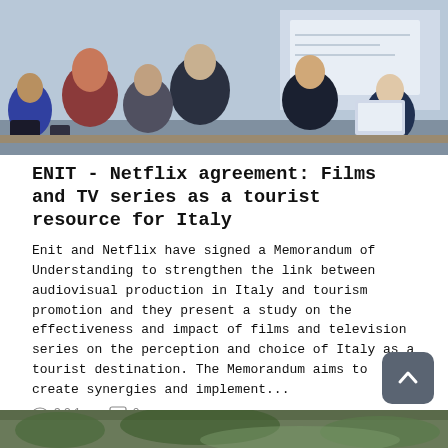[Figure (photo): Group of people viewed from behind, sitting in a conference or presentation room setting, looking at a screen or presentation at the front.]
ENIT - Netflix agreement: Films and TV series as a tourist resource for Italy
Enit and Netflix have signed a Memorandum of Understanding to strengthen the link between audiovisual production in Italy and tourism promotion and they present a study on the effectiveness and impact of films and television series on the perception and choice of Italy as a tourist destination. The Memorandum aims to create synergies and implement...
321  -  0
READ MORE →
[Figure (photo): Partial bottom strip of an image showing an outdoor or nature scene.]